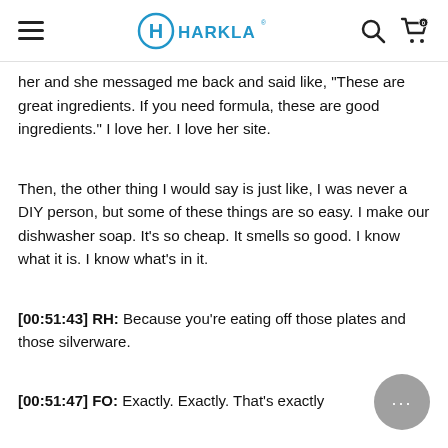Harkla (website header with navigation: hamburger menu, Harkla logo, search icon, cart icon)
her and she messaged me back and said like, "These are great ingredients. If you need formula, these are good ingredients." I love her. I love her site.
Then, the other thing I would say is just like, I was never a DIY person, but some of these things are so easy. I make our dishwasher soap. It's so cheap. It smells so good. I know what it is. I know what's in it.
[00:51:43] RH: Because you're eating off those plates and those silverware.
[00:51:47] FO: Exactly. Exactly. That's exactly